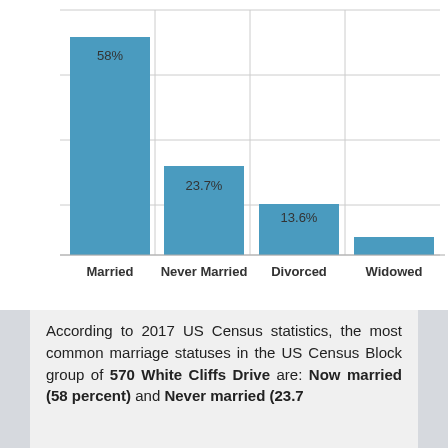[Figure (bar-chart): Marriage Status]
According to 2017 US Census statistics, the most common marriage statuses in the US Census Block group of 570 White Cliffs Drive are: Now married (58 percent) and Never married (23.7 percent)